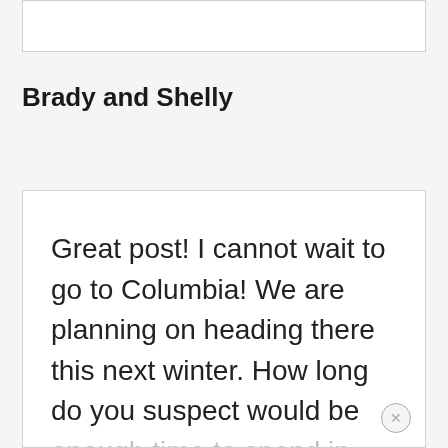Brady and Shelly
Great post! I cannot wait to go to Columbia! We are planning on heading there this next winter. How long do you suspect would be enough time to spend in